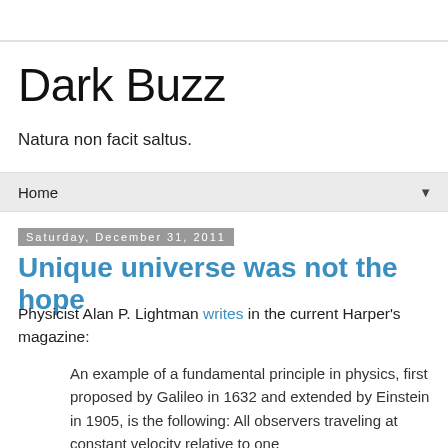Dark Buzz
Natura non facit saltus.
Home ▼
Saturday, December 31, 2011
Unique universe was not the hope
Physicist Alan P. Lightman writes in the current Harper's magazine:
An example of a fundamental principle in physics, first proposed by Galileo in 1632 and extended by Einstein in 1905, is the following: All observers traveling at constant velocity relative to one